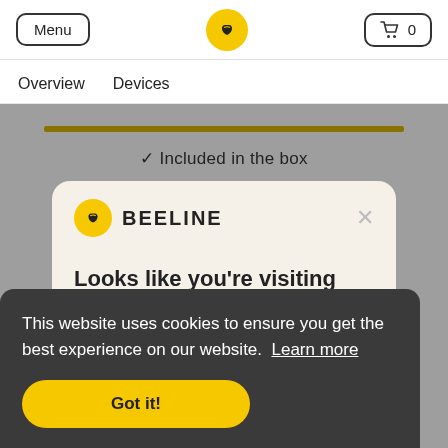Menu | Beeline logo | Cart 0
Overview   Devices
[Figure (screenshot): Beeline website screenshot showing a gold progress bar, 'Included in the box' label, a Beeline modal popup with logo and brand name, partial text 'Looks like you're visiting from outside', and a cookie consent banner at the bottom with 'Got it!' button.]
✓ Included in the box
BEELINE
Looks like you're visiting from outside
This website uses cookies to ensure you get the best experience on our website. Learn more
Got it!